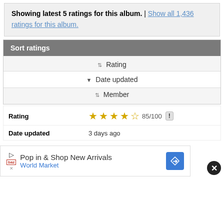Showing latest 5 ratings for this album. | Show all 1,436 ratings for this album.
Sort ratings
⇅ Rating
▼ Date updated
⇅ Member
| Rating | Date updated |
| --- | --- |
| 85/100 (4.5 stars) | 3 days ago |
[Figure (other): Advertisement: Pop in & Shop New Arrivals - World Market]